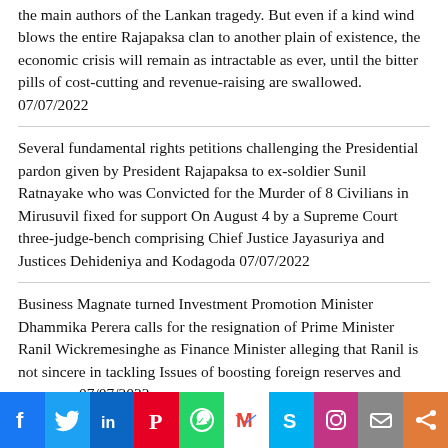the main authors of the Lankan tragedy. But even if a kind wind blows the entire Rajapaksa clan to another plain of existence, the economic crisis will remain as intractable as ever, until the bitter pills of cost-cutting and revenue-raising are swallowed. 07/07/2022
Several fundamental rights petitions challenging the Presidential pardon given by President Rajapaksa to ex-soldier Sunil Ratnayake who was Convicted for the Murder of 8 Civilians in Mirusuvil fixed for support On August 4 by a Supreme Court three-judge-bench comprising Chief Justice Jayasuriya and Justices Dehideniya and Kodagoda 07/07/2022
Business Magnate turned Investment Promotion Minister Dhammika Perera calls for the resignation of Prime Minister Ranil Wickremesinghe as Finance Minister alleging that Ranil is not sincere in tackling Issues of boosting foreign reserves and currency. 07/07/2022
[Figure (infographic): Social media sharing bar with icons: Facebook, Twitter, LinkedIn, Pinterest, WhatsApp, Gmail, Skype, Instagram, Email, Share]